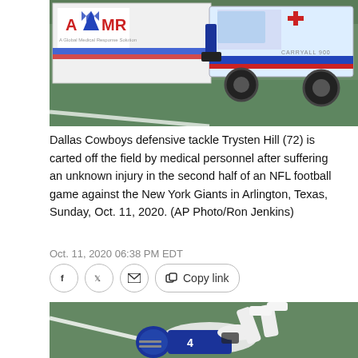[Figure (photo): Dallas Cowboys medical cart with AMR logo on a football field, being used to transport injured player Trysten Hill]
Dallas Cowboys defensive tackle Trysten Hill (72) is carted off the field by medical personnel after suffering an unknown injury in the second half of an NFL football game against the New York Giants in Arlington, Texas, Sunday, Oct. 11, 2020. (AP Photo/Ron Jenkins)
Oct. 11, 2020 06:38 PM EDT
[Figure (photo): Dallas Cowboys player lying on the football field after sustaining an injury during an NFL game]